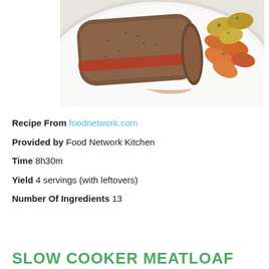[Figure (photo): A plate of sliced meatloaf served with roasted carrots and potatoes, garnished with herbs]
Recipe From foodnetwork.com
Provided by Food Network Kitchen
Time 8h30m
Yield 4 servings (with leftovers)
Number Of Ingredients 13
SLOW COOKER MEATLOAF